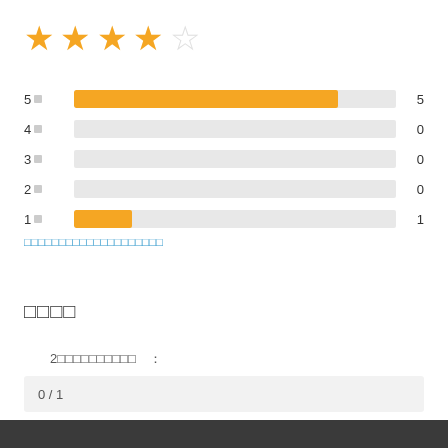[Figure (other): Star rating display showing 4.5 out of 5 stars in gold/yellow color]
[Figure (bar-chart): Rating distribution bar chart]
□□□□□□□□□□□□□□□□□□□□
□□□□
2□□□□□□□□□□  :
0 / 1
□□□□□□□□□□□□